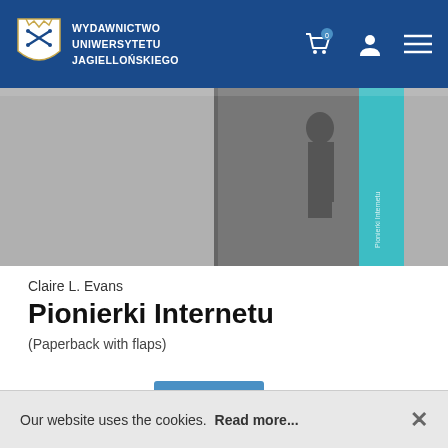WYDAWNICTWO UNIWERSYTETU JAGIELLOŃSKIEGO
[Figure (photo): Book cover showing black and white photo of a woman near early computer equipment, with a teal accent stripe on the right side]
Claire L. Evans
Pionierki Internetu
(Paperback with flaps)
Our website uses the cookies.  Read more...  ×